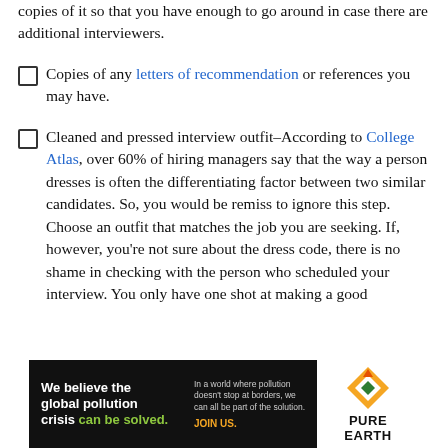copies of it so that you have enough to go around in case there are additional interviewers.
Copies of any letters of recommendation or references you may have.
Cleaned and pressed interview outfit–According to College Atlas, over 60% of hiring managers say that the way a person dresses is often the differentiating factor between two similar candidates. So, you would be remiss to ignore this step. Choose an outfit that matches the job you are seeking. If, however, you're not sure about the dress code, there is no shame in checking with the person who scheduled your interview. You only have one shot at making a good
[Figure (infographic): Pure Earth advertisement banner: 'We believe the global pollution crisis can be solved.' with tagline about pollution not stopping at borders and call to action 'JOIN US.']